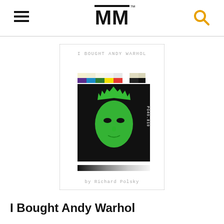MM™
[Figure (illustration): Book cover of 'I Bought Andy Warhol' by Richard Polsky. Features a green-tinted Andy Warhol self-portrait face on black background, with color calibration bars at top and a gradient bar at bottom. Text at top reads 'I BOUGHT ANDY WARHOL' and at bottom 'by Richard Polsky'.]
I Bought Andy Warhol